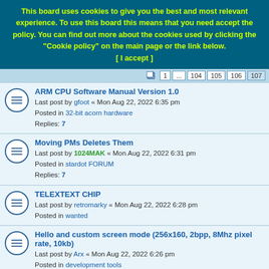This board uses cookies to give you the best and most relevant experience. To use this board this means that you need accept the policy. You can find out more about the cookies used by clicking the "Cookie policy" on the main page or the link below. [ I accept ]
ARM CPU Software Manual Version 1.0 — Last post by gfoot « Mon Aug 22, 2022 6:35 pm — Posted in 32-bit acorn hardware — Replies: 7
Moving PMs Deletes Them — Last post by 1024MAK « Mon Aug 22, 2022 6:31 pm — Posted in stardot FORUM — Replies: 7
TELEXTEXT CHIP — Last post by retromarky « Mon Aug 22, 2022 6:28 pm — Posted in wanted
Hello and custom screen mode (256x160, 2bpp, 8Mhz pixel rate, 10kb) — Last post by Arx « Mon Aug 22, 2022 6:26 pm — Posted in development tools — Replies: 3
Econet to AUN bridge on Raspberry Pi - released — Last post by BeebMaster « Mon Aug 22, 2022 5:56 pm — Posted in 8-bit acorn hardware — Replies: 2042